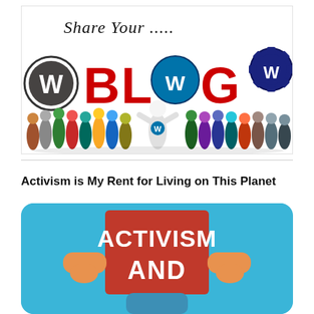[Figure (illustration): WordPress 'Share Your Blog' banner with large red BLOG text, WordPress logos, and colorful 3D people figures standing in a row]
Activism is My Rent for Living on This Planet
[Figure (illustration): Illustration of a person holding a red sign that reads 'ACTIVISM AND' on a light blue background, partially cropped at bottom]